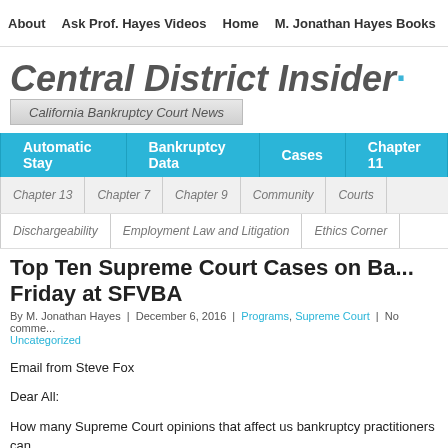About | Ask Prof. Hayes Videos | Home | M. Jonathan Hayes Books | No...
Central District Insider
California Bankruptcy Court News
Automatic Stay | Bankruptcy Data | Cases | Chapter 11
Chapter 13 | Chapter 7 | Chapter 9 | Community | Courts
Dischargeability | Employment Law and Litigation | Ethics Corner
Top Ten Supreme Court Cases on Ba... Friday at SFVBA
By M. Jonathan Hayes | December 6, 2016 | Programs, Supreme Court | No comme... Uncategorized
Email from Steve Fox
Dear All:
How many Supreme Court opinions that affect us bankruptcy practitioners can...